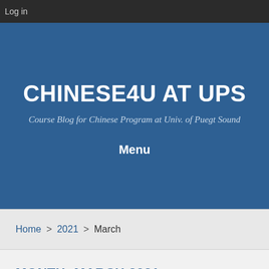Log in
CHINESE4U AT UPS
Course Blog for Chinese Program at Univ. of Puegt Sound
Menu
Home > 2021 > March
MONTH: MARCH 2021